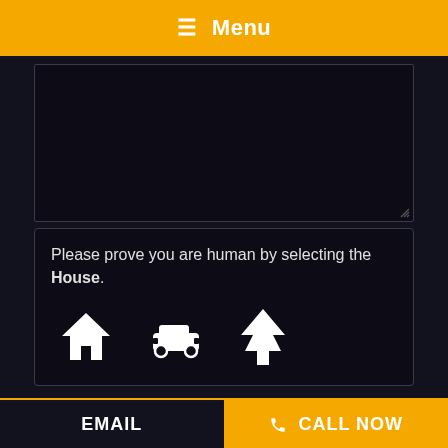☰ Menu
[Figure (screenshot): Dark textarea input box, empty, with resize handle at bottom right]
Please prove you are human by selecting the House.
[Figure (other): CAPTCHA icons: house, car, tree (Font Awesome style, white on dark background)]
SEND
EMAIL  📞 CALL NOW